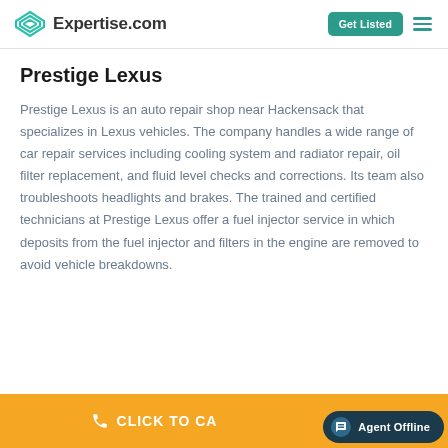Expertise.com
Prestige Lexus
Prestige Lexus is an auto repair shop near Hackensack that specializes in Lexus vehicles. The company handles a wide range of car repair services including cooling system and radiator repair, oil filter replacement, and fluid level checks and corrections. Its team also troubleshoots headlights and brakes. The trained and certified technicians at Prestige Lexus offer a fuel injector service in which deposits from the fuel injector and filters in the engine are removed to avoid vehicle breakdowns.
CLICK TO CALL
Agent Offline